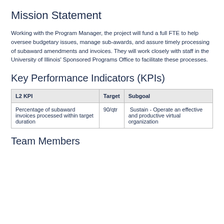Mission Statement
Working with the Program Manager, the project will fund a full FTE to help oversee budgetary issues, manage sub-awards, and assure timely processing of subaward amendments and invoices. They will work closely with staff in the University of Illinois' Sponsored Programs Office to facilitate these processes.
Key Performance Indicators (KPIs)
| L2 KPI | Target | Subgoal |
| --- | --- | --- |
| Percentage of subaward invoices processed within target duration | 90/qtr | Sustain - Operate an effective and productive virtual organization |
Team Members